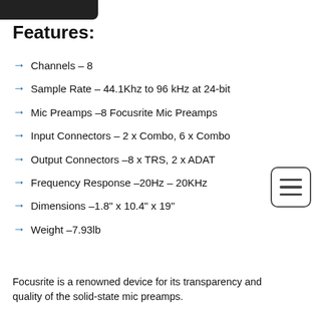[Figure (photo): Partial photo of a device (dark/black object, cropped at top)]
Features:
Channels – 8
Sample Rate – 44.1Khz to 96 kHz at 24-bit
Mic Preamps –8 Focusrite Mic Preamps
Input Connectors – 2 x Combo, 6 x Combo
Output Connectors –8 x TRS, 2 x ADAT
Frequency Response –20Hz – 20KHz
Dimensions –1.8" x 10.4" x 19"
Weight –7.93lb
Focusrite is a renowned device for its transparency and quality of the solid-state mic preamps.